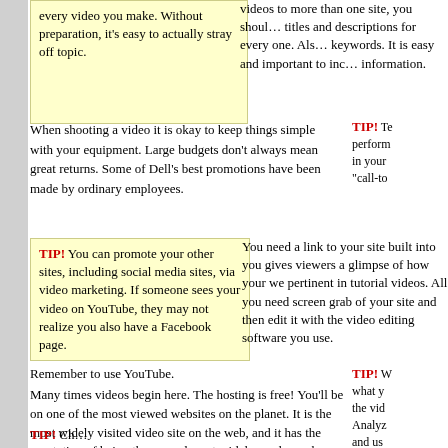every video you make. Without preparation, it's easy to actually stray off topic.
videos to more than one site, you should have unique titles and descriptions for every one. Also, include your keywords. It is easy and important to include such information.
When shooting a video it is okay to keep things simple with your equipment. Large budgets don't always mean great returns. Some of Dell's best promotions have been made by ordinary employees.
TIP! Te perform in your "call-to
TIP! You can promote your other sites, including social media sites, via video marketing. If someone sees your video on YouTube, they may not realize you also have a Facebook page.
You need a link to your site built into you gives viewers a glimpse of how your we pertinent in tutorial videos. All you need screen grab of your site and then edit it with the video editing software you use.
Remember to use YouTube. Many times videos begin here. The hosting is free! You'll be on one of the most viewed websites on the planet. It is the most widely visited video site on the web, and it has the reputation of being the second most widely used search engine for videos.
TIP! W what y the vid Analyz and us an eve video t
TIP! Ch...